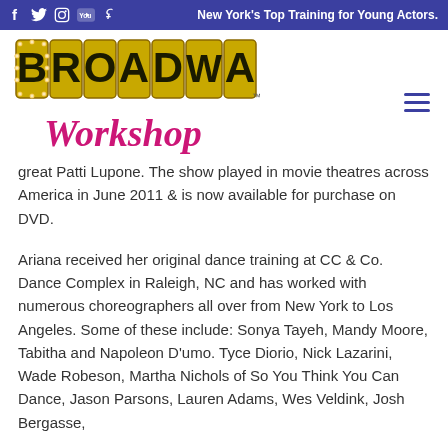New York's Top Training for Young Actors.
[Figure (logo): Broadway Workshop logo with marquee-style lettering and cursive 'Workshop' in pink]
great Patti Lupone. The show played in movie theatres across America in June 2011 & is now available for purchase on DVD.
Ariana received her original dance training at CC & Co. Dance Complex in Raleigh, NC and has worked with numerous choreographers all over from New York to Los Angeles. Some of these include: Sonya Tayeh, Mandy Moore, Tabitha and Napoleon D'umo. Tyce Diorio, Nick Lazarini, Wade Robeson, Martha Nichols of So You Think You Can Dance, Jason Parsons, Lauren Adams, Wes Veldink, Josh Bergasse,